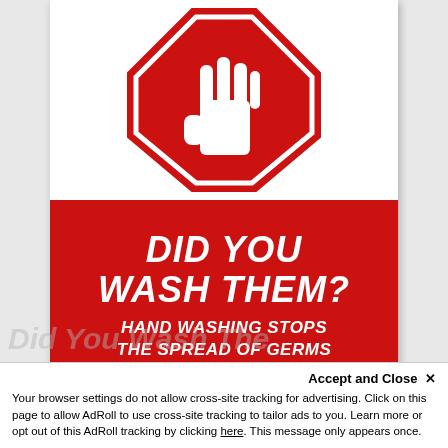[Figure (infographic): A stop-sign style octagon in red with a white hand raised inside it, above a red rectangle with white bold text reading 'DID YOU WASH THEM? HAND WASHING STOPS THE SPREAD OF GERMS']
Accept and Close ×
Your browser settings do not allow cross-site tracking for advertising. Click on this page to allow AdRoll to use cross-site tracking to tailor ads to you. Learn more or opt out of this AdRoll tracking by clicking here. This message only appears once.